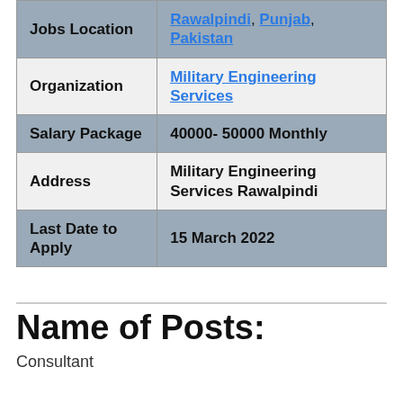| Field | Value |
| --- | --- |
| Jobs Location | Rawalpindi, Punjab, Pakistan |
| Organization | Military Engineering Services |
| Salary Package | 40000- 50000 Monthly |
| Address | Military Engineering Services Rawalpindi |
| Last Date to Apply | 15 March 2022 |
Name of Posts:
Consultant